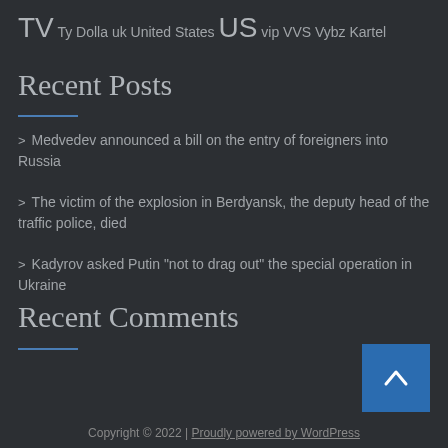TV Ty Dolla uk United States US vip VVS Vybz Kartel
Recent Posts
Medvedev announced a bill on the entry of foreigners into Russia
The victim of the explosion in Berdyansk, the deputy head of the traffic police, died
Kadyrov asked Putin "not to drag out" the special operation in Ukraine
Recent Comments
Copyright © 2022 | Proudly powered by WordPress